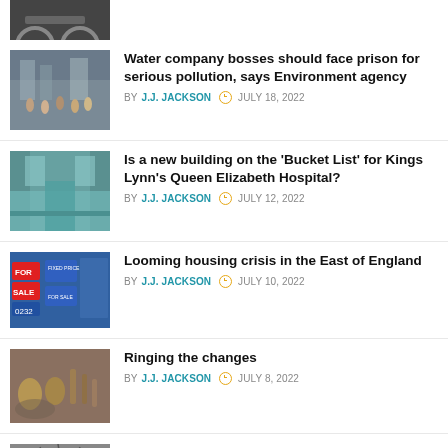[Figure (photo): Partial image of bicycles, cropped at top of page]
[Figure (photo): Protesters marching on a street holding signs]
Water company bosses should face prison for serious pollution, says Environment agency
BY J.J. JACKSON   JULY 18, 2022
[Figure (photo): Interior of a hospital building with teal walls]
Is a new building on the ‘Bucket List’ for Kings Lynn’s Queen Elizabeth Hospital?
BY J.J. JACKSON   JULY 12, 2022
[Figure (photo): Estate agent for sale signs outside properties]
Looming housing crisis in the East of England
BY J.J. JACKSON   JULY 10, 2022
[Figure (photo): A basket of bells and tools]
Ringing the changes
BY J.J. JACKSON   JULY 8, 2022
[Figure (photo): Close-up of a hedgehog]
Crisis as falling volunteer numbers threaten Norfolk hedgehogs with potential